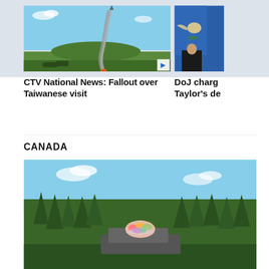[Figure (photo): Missile launch photo with smoke trail against blue sky, green hill in background, military vehicles visible. Play button overlay in bottom-right corner.]
[Figure (photo): Partial photo showing blue flag with eagle emblem and a person in dark clothing, cropped on right edge.]
CTV National News: Fallout over Taiwanese visit
DoJ charg Taylor's de
CANADA
[Figure (photo): Photo of trees (evergreens) against blue sky with flowers/bouquet visible on a vehicle, partially cropped at bottom of page.]